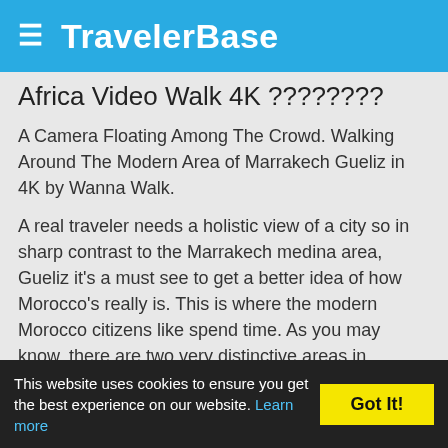≡ TravelerBase
Africa Video Walk4K????????
A Camera Floating Among The Crowd. Walking Around The Modern Area of Marrakech Gueliz in 4K by Wanna Walk.
A real traveler needs a holistic view of a city so in sharp contrast to the Marrakech medina area, Gueliz it's a must see to get a better idea of how Morocco's really is. This is where the modern Morocco citizens like spend time. As you may know, there are two very distinctive areas in Marrakesh: one is the Old Medina (old city) and the new Marrakesh, which is a kinda European style district called Ville Nouvelle or Gueliz. If you wanna walk, everything can be seen on foot but a GPS is key.
Wanna Support?
This website uses cookies to ensure you get the best experience on our website. Learn more  Got It!